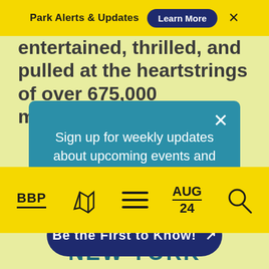Park Alerts & Updates  Learn More  ×
entertained, thrilled, and pulled at the heartstrings of over 675,000 moviegoers,
Sign up for weekly updates about upcoming events and news in Brooklyn Bridge Park.
Be the First to Know! ↗
BBP  [map icon]  [menu icon]  AUG 24  [search icon]
NEW YORK